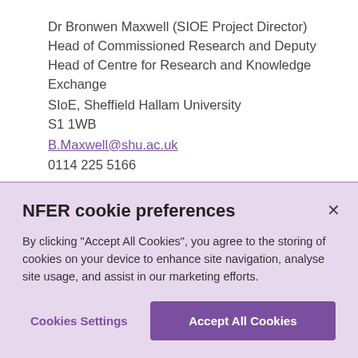Dr Bronwen Maxwell (SIOE Project Director)
Head of Commissioned Research and Deputy Head of Centre for Research and Knowledge Exchange
SIoE, Sheffield Hallam University
S1 1WB
B.Maxwell@shu.ac.uk
0114 225 5166
NFER/SHU Fair Processing Notice
DfE Privacy Statement
[Figure (screenshot): Cookie consent banner with title 'NFER cookie preferences', descriptive text about accepting cookies, a close button (×), and two action buttons: 'Cookies Settings' and 'Accept All Cookies'.]